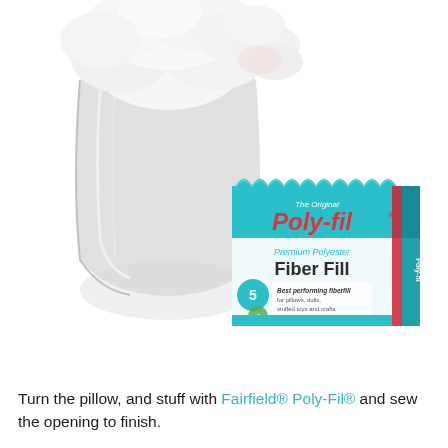[Figure (photo): Product photo showing a large bag of white polyester fiberfill stuffing with fluffy white fiber spilling out, and in front of it the Poly-fil box packaging. The box is teal/turquoise branded with 'The Original Poly-fil Premium Polyester Fiber Fill' text, 5 lb size, Fairfield brand.]
Turn the pillow, and stuff with Fairfield® Poly-Fil® and sew the opening to finish.